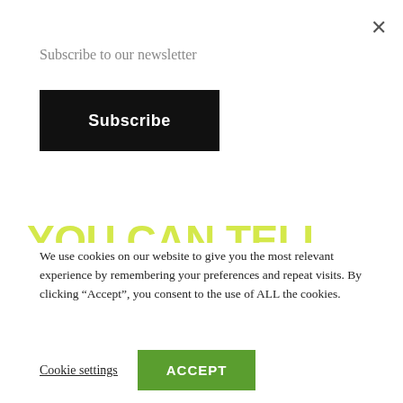Subscribe to our newsletter
Subscribe
YOU CAN TELL HOW PASSIONATE EVERYONE AT BE UNITED IS; IT
We use cookies on our website to give you the most relevant experience by remembering your preferences and repeat visits. By clicking “Accept”, you consent to the use of ALL the cookies.
Cookie settings
ACCEPT